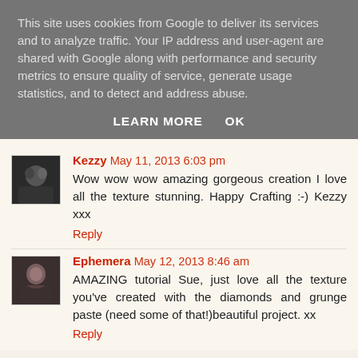This site uses cookies from Google to deliver its services and to analyze traffic. Your IP address and user-agent are shared with Google along with performance and security metrics to ensure quality of service, generate usage statistics, and to detect and address abuse.
LEARN MORE    OK
Kezzy  May 11, 2013 6:03 pm
Wow wow wow amazing gorgeous creation I love all the texture stunning. Happy Crafting :-) Kezzy xxx
Reply
Ephemera  May 12, 2013 8:46 am
AMAZING tutorial Sue, just love all the texture you've created with the diamonds and grunge paste (need some of that!)beautiful project. xx
Reply